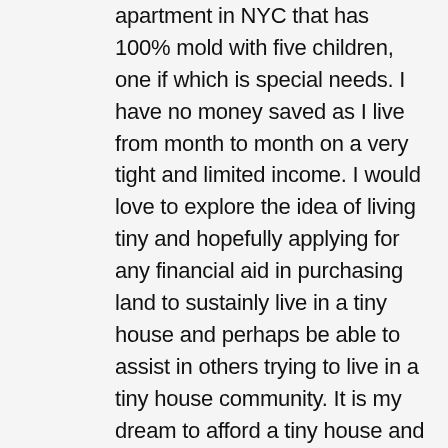apartment in NYC that has 100% mold with five children, one if which is special needs. I have no money saved as I live from month to month on a very tight and limited income. I would love to explore the idea of living tiny and hopefully applying for any financial aid in purchasing land to sustainly live in a tiny house and perhaps be able to assist in others trying to live in a tiny house community. It is my dream to afford a tiny house and land, utilize sustainable and eco friendly measures, as well as to live off the land off grid, in order to propel the tiny house nation to important and feasible conversations within our government to open dialogue regarding this wonderful movement that perhaps would lead to laws and regulations for the tiny house movement in our communities, especially in big cities, like NY. I am hoping to get funding